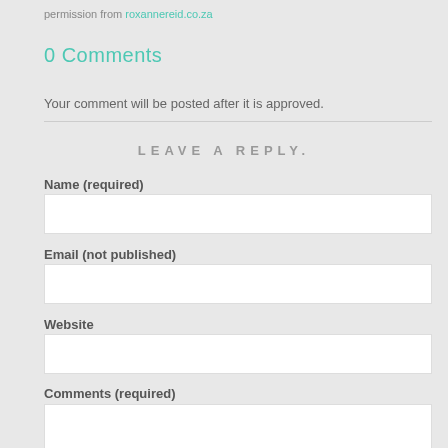permission from roxannereid.co.za
0 Comments
Your comment will be posted after it is approved.
LEAVE A REPLY.
Name (required)
Email (not published)
Website
Comments (required)